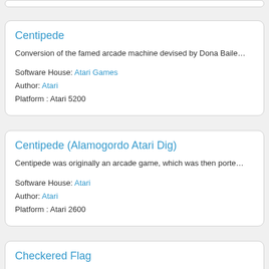Centipede
Conversion of the famed arcade machine devised by Dona Baile…
Software House: Atari Games
Author: Atari
Platform : Atari 5200
Centipede (Alamogordo Atari Dig)
Centipede was originally an arcade game, which was then porte…
Software House: Atari
Author: Atari
Platform : Atari 2600
Checkered Flag